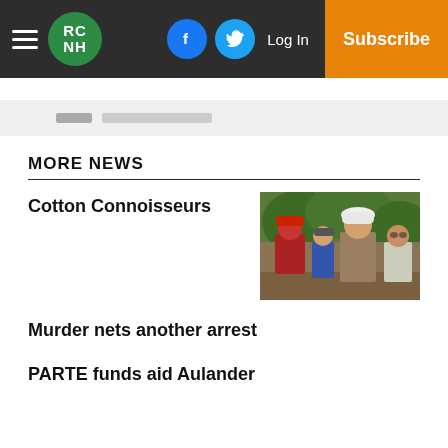RC NH | Log In | Subscribe
MORE NEWS
Cotton Connoisseurs
[Figure (photo): Group of people from behind standing outdoors under trees, several wearing hats including red and white hard hats]
Murder nets another arrest
PARTE funds aid Aulander